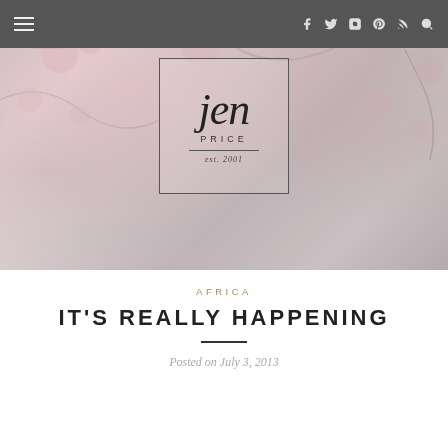Navigation bar with hamburger menu and social icons: Facebook, Twitter, Instagram, Pinterest, RSS, Search
[Figure (photo): Cherry blossom flowers in soft pink and white, blurred bokeh background, with 'jen PRICE est. 2001' logo box centered in the image]
AFRICA
IT'S REALLY HAPPENING
Posted on July 3, 2013